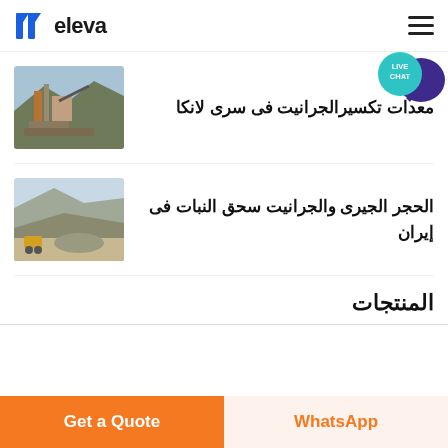eleva
[Figure (logo): Eleva brand logo with stylized M/book icon and text 'eleva']
[Figure (photo): Live Chat bubble icon in teal and dark purple]
[Figure (photo): Mining/crushing machinery at a granite quarry site]
معدات تكسيرالجرانيت فى سرى لانكا
[Figure (photo): Limestone and granite open-pit quarry with crushing plant]
الحجر الجيرى والجرانيت سحق النبات فى إيران
المنتجات
Get a Quote
WhatsApp